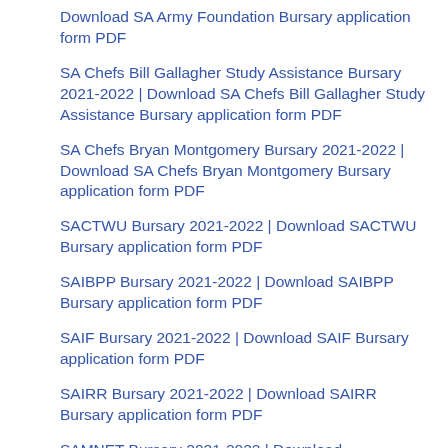Download SA Army Foundation Bursary application form PDF
SA Chefs Bill Gallagher Study Assistance Bursary 2021-2022 | Download SA Chefs Bill Gallagher Study Assistance Bursary application form PDF
SA Chefs Bryan Montgomery Bursary 2021-2022 | Download SA Chefs Bryan Montgomery Bursary application form PDF
SACTWU Bursary 2021-2022 | Download SACTWU Bursary application form PDF
SAIBPP Bursary 2021-2022 | Download SAIBPP Bursary application form PDF
SAIF Bursary 2021-2022 | Download SAIF Bursary application form PDF
SAIRR Bursary 2021-2022 | Download SAIRR Bursary application form PDF
SAMNET Bursary 2021-2022 | Download